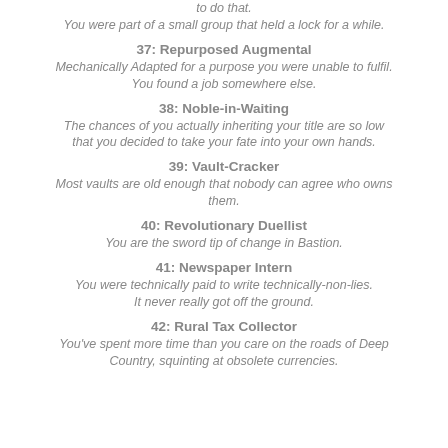to do that.
You were part of a small group that held a lock for a while.
37: Repurposed Augmental
Mechanically Adapted for a purpose you were unable to fulfil. You found a job somewhere else.
38: Noble-in-Waiting
The chances of you actually inheriting your title are so low that you decided to take your fate into your own hands.
39: Vault-Cracker
Most vaults are old enough that nobody can agree who owns them.
40: Revolutionary Duellist
You are the sword tip of change in Bastion.
41: Newspaper Intern
You were technically paid to write technically-non-lies. It never really got off the ground.
42: Rural Tax Collector
You've spent more time than you care on the roads of Deep Country, squinting at obsolete currencies.